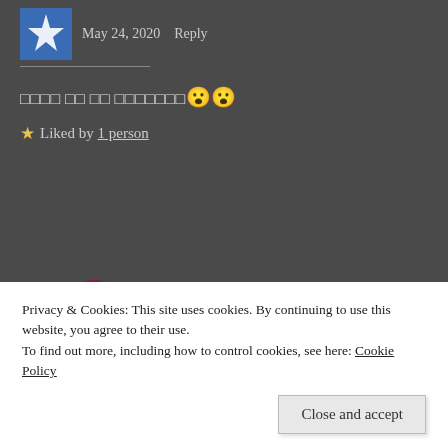[Figure (logo): Blue and white star/snowflake avatar icon for a commenter]
May 24, 2020   Reply
□□□□ □□ □□ □□□□□□□ 😮😮
★ Liked by 1 person
[Figure (logo): Circular dark red BB logo avatar for A.S. (Bubu's Bubble)]
A.S. May 24, 2020   Reply
Privacy & Cookies: This site uses cookies. By continuing to use this website, you agree to their use.
To find out more, including how to control cookies, see here: Cookie Policy
Close and accept